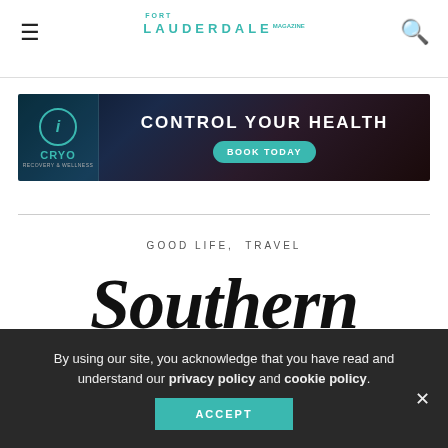Fort Lauderdale Magazine — hamburger menu, logo, search icon
[Figure (infographic): iCRYO Recovery & Wellness advertisement banner. Dark mountain background. iCRYO logo on left with teal circle. Text: CONTROL YOUR HEALTH. Teal rounded button: BOOK TODAY.]
GOOD LIFE, TRAVEL
Southern
By using our site, you acknowledge that you have read and understand our privacy policy and cookie policy. ACCEPT